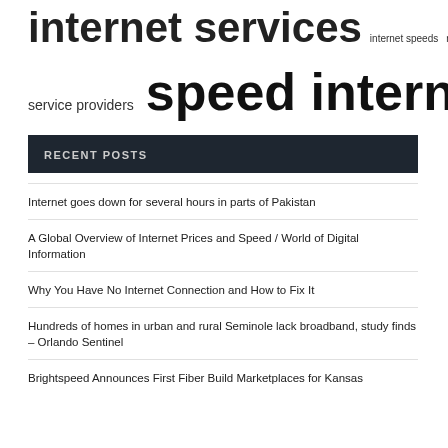internet services  internet speeds  rural areas  service providers  speed internet  united states  wi fi
RECENT POSTS
Internet goes down for several hours in parts of Pakistan
A Global Overview of Internet Prices and Speed / World of Digital Information
Why You Have No Internet Connection and How to Fix It
Hundreds of homes in urban and rural Seminole lack broadband, study finds – Orlando Sentinel
Brightspeed Announces First Fiber Build Marketplaces for Kansas